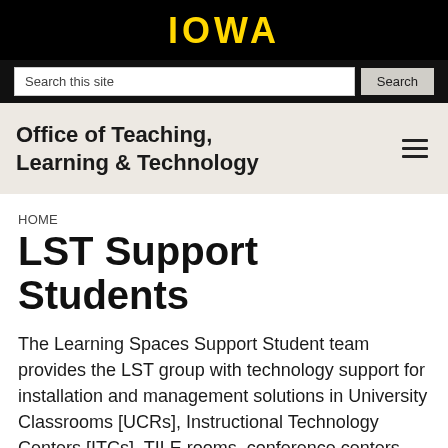IOWA
Search this site
Office of Teaching, Learning & Technology
HOME
LST Support Students
The Learning Spaces Support Student team provides the LST group with technology support for installation and management solutions in University Classrooms [UCRs], Instructional Technology Centers [ITCs], TILE rooms, conference centers, learning commons and select other learning spaces across campus.